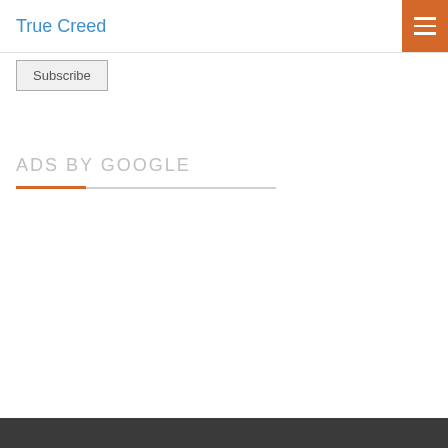True Creed
Subscribe
ADS BY GOOGLE